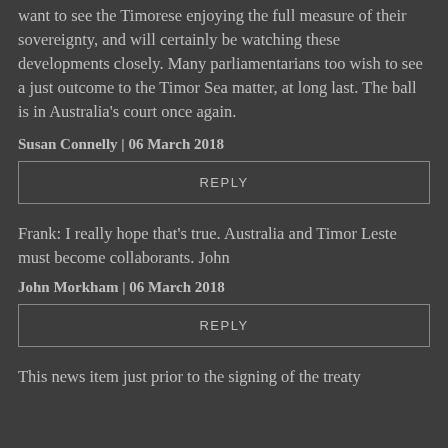want to see the Timorese enjoying the full measure of their sovereignty, and will certainly be watching these developments closely. Many parliamentarians too wish to see a just outcome to the Timor Sea matter, at long last. The ball is in Australia's court once again.
Susan Connelly | 06 March 2018
REPLY
Frank: I really hope that's true. Australia and Timor Leste must become collaborants. John
John Morkham | 06 March 2018
REPLY
This news item just prior to the signing of the treaty